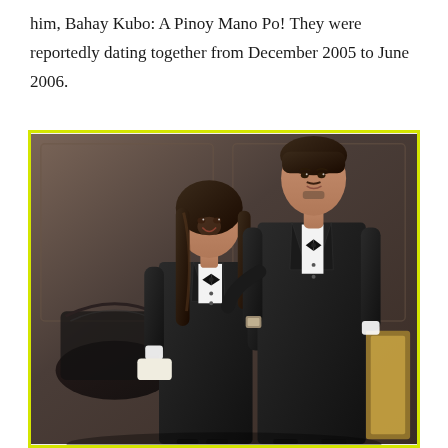him, Bahay Kubo: A Pinoy Mano Po! They were reportedly dating together from December 2005 to June 2006.
[Figure (photo): A man and a woman dressed in matching black tuxedos with white shirts and black bow ties, posing together in front of a dark ornate background. The woman is on the left with long dark hair and is smiling; the man is on the right, taller, with short dark hair. The image has a yellow-green border.]